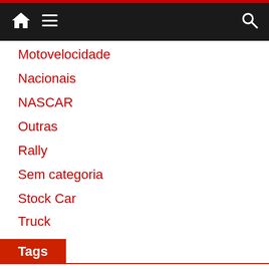Navigation bar with home, menu, and search icons
Motovelocidade
Nacionais
NASCAR
Outras
Rally
Sem categoria
Stock Car
Truck
Tags
ABBFormulaE AbuDhabiGP AusGP AustralianGP AustrianGP AzerbaijanGP BahrainGP BarcelonaTest beACC BelgianGP BrasileiroDeKart BrazilGP BrazilianGP BritishGP CanadianGP